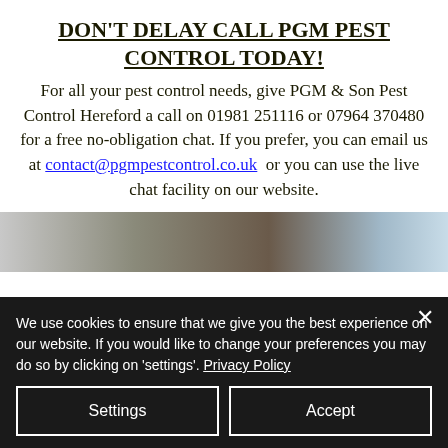DON'T DELAY CALL PGM PEST CONTROL TODAY!
For all your pest control needs, give PGM & Son Pest Control Hereford a call on 01981 251116 or 07964 370480 for a free no-obligation chat. If you prefer, you can email us at contact@pgmpestcontrol.co.uk or you can use the live chat facility on our website.
[Figure (photo): Partial photo showing a vehicle, brick wall and sky — bottom portion cut off by cookie banner]
We use cookies to ensure that we give you the best experience on our website. If you would like to change your preferences you may do so by clicking on 'settings'. Privacy Policy
Settings   Accept